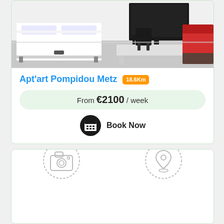[Figure (photo): Hotel room photo showing a white bed, grey floor, red sofa/chair, black desk chair, and TV on a white desk]
Apt'art Pompidou Metz 18.6Km
From €2100 / week
Book Now
[Figure (infographic): Bottom card with camera icon (photos) on the left and map pin/location icon on the right, both inside dashed circles]